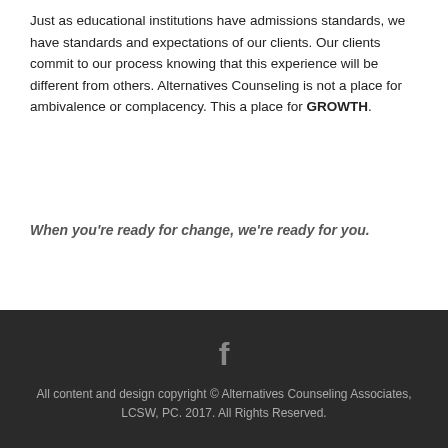Just as educational institutions have admissions standards, we have standards and expectations of our clients. Our clients commit to our process knowing that this experience will be different from others. Alternatives Counseling is not a place for ambivalence or complacency. This a place for GROWTH.
When you're ready for change, we're ready for you.
[Figure (logo): Facebook icon in gray]
All content and design copyright © Alternatives Counseling Associates, LCSW, PC. 2017. All Rights Reserved.